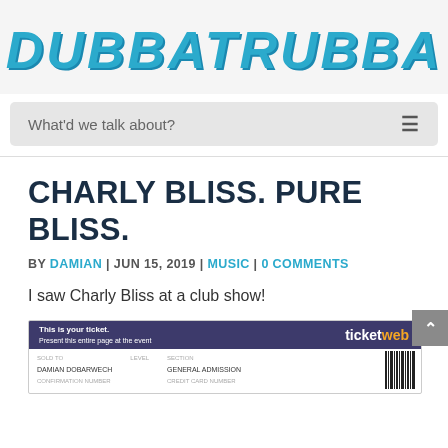DUBBATRUBBA
What'd we talk about?
CHARLY BLISS. PURE BLISS.
BY DAMIAN | JUN 15, 2019 | MUSIC | 0 COMMENTS
I saw Charly Bliss at a club show!
[Figure (photo): A TicketWeb ticket stub showing 'This is your ticket. Present this entire page at the event.' with purple header bar, ticket details including SECTION: GENERAL ADMISSION, and a barcode on the right side.]